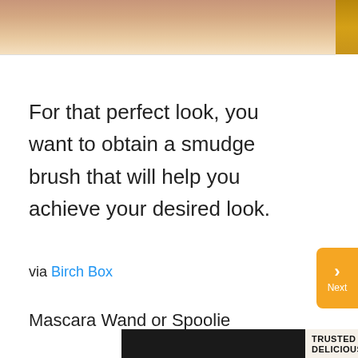[Figure (photo): Close-up photo of skin/face with blonde hair visible at right edge, cropped at top of page]
For that perfect look, you want to obtain a smudge brush that will help you achieve your desired look.
via Birch Box
Mascara Wand or Spoolie
[Figure (photo): Advertisement for Beecher's Handmade Cheese (dark background, white text), sold at Publix, Whole Foods, Kroger]
[Figure (photo): Advertisement: TRUSTED DELICIOUSNESS #NOFILTER with photo of mac and cheese in a cast iron pan]